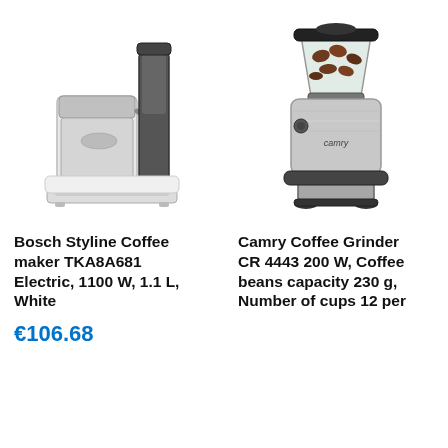[Figure (photo): Bosch Styline coffee maker, stainless steel and white, with thermal carafe]
[Figure (photo): Camry Coffee Grinder CR 4443, stainless steel with glass bean hopper filled with coffee beans]
Bosch Styline Coffee maker TKA8A681 Electric, 1100 W, 1.1 L, White
Camry Coffee Grinder CR 4443 200 W, Coffee beans capacity 230 g, Number of cups 12 per
€106.68